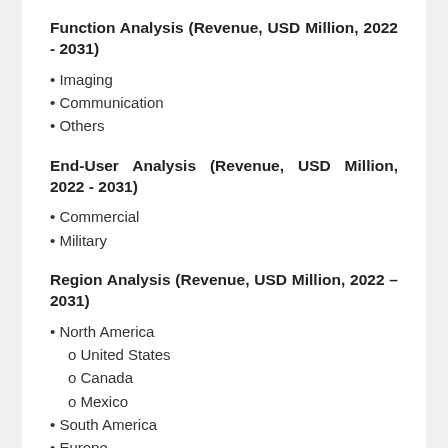Function Analysis (Revenue, USD Million, 2022 - 2031)
• Imaging
• Communication
• Others
End-User Analysis (Revenue, USD Million, 2022 - 2031)
• Commercial
• Military
Region Analysis (Revenue, USD Million, 2022 – 2031)
• North America
o United States
o Canada
o Mexico
• South America
• Europe